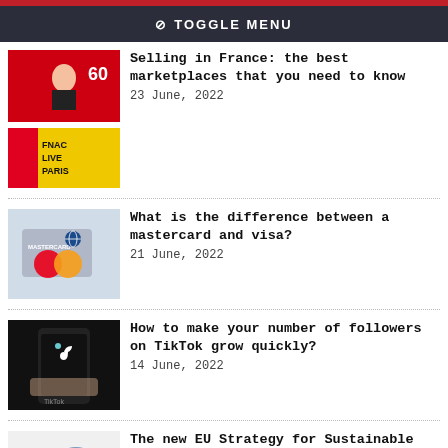TOGGLE MENU
Selling in France: the best marketplaces that you need to know — 23 June, 2022
What is the difference between a mastercard and visa? — 21 June, 2022
How to make your number of followers on TikTok grow quickly? — 14 June, 2022
The new EU Strategy for Sustainable and Circular Textiles — 07 June, 2022